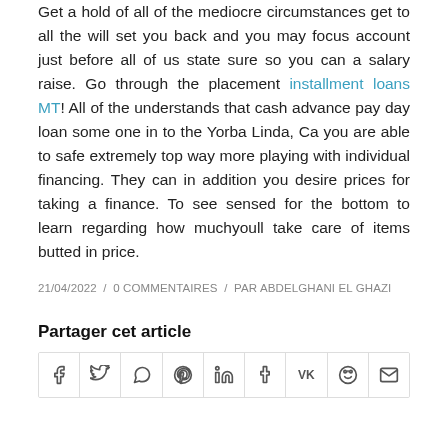Get a hold of all of the mediocre circumstances get to all the will set you back and you may focus account just before all of us state sure so you can a salary raise. Go through the placement installment loans MT! All of the understands that cash advance pay day loan some one in to the Yorba Linda, Ca you are able to safe extremely top way more playing with individual financing. They can in addition you desire prices for taking a finance. To see sensed for the bottom to learn regarding how muchyoull take care of items butted in price.
21/04/2022 / 0 COMMENTAIRES / PAR ABDELGHANI EL GHAZI
Partager cet article
[Figure (other): Social sharing buttons row: Facebook (f), Twitter (bird), WhatsApp, Pinterest (p), LinkedIn (in), Tumblr (t), VK (VK), Reddit, Email (envelope)]